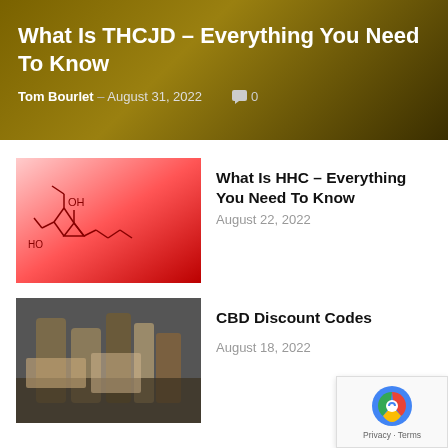What Is THCJD – Everything You Need To Know
Tom Bourlet – August 31, 2022   💬 0
[Figure (photo): Chemical structure of HHC molecule on red/pink gradient background]
What Is HHC – Everything You Need To Know
August 22, 2022
[Figure (photo): CBD products including vials and dried herbs on dark background]
CBD Discount Codes
August 18, 2022
Featured
CBD Discount Codes
Tom Bourlet – August 18, 2022
CBD Affiliate Programs